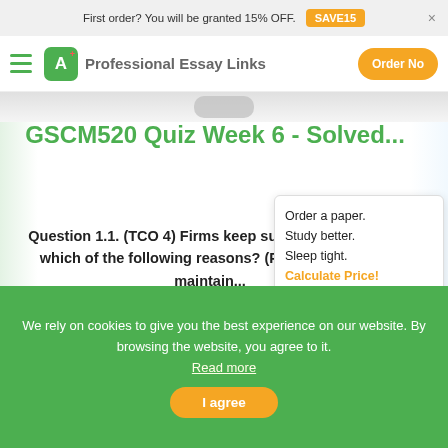First order? You will be granted 15% OFF. SAVE15
[Figure (logo): A+ Professional Essay Links logo with hamburger menu and Order Now button]
[Figure (photo): Blurred profile image at top of article]
GSCM520 Quiz Week 6 - Solved...
Question 1.1. (TCO 4) Firms keep suppl inventory for which of the following reasons? (Points : 3)      To maintain...
[Figure (infographic): Tooltip box: Order a paper. Study better. Sleep tight. Calculate Price!]
[Figure (infographic): Orange circle calculator button]
We rely on cookies to give you the best experience on our website. By browsing the website, you agree to it. Read more
I agree